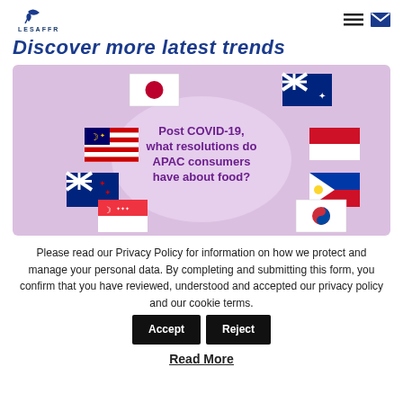LESAFFRE (with logo and nav icons)
Discover more latest trends
[Figure (infographic): Infographic on purple background showing flags of Japan, Australia, Malaysia, Indonesia, New Zealand, Philippines, Singapore, South Korea arranged around a central speech bubble with bold purple text: 'Post COVID-19, what resolutions do APAC consumers have about food?']
Please read our Privacy Policy for information on how we protect and manage your personal data. By completing and submitting this form, you confirm that you have reviewed, understood and accepted our privacy policy and our cookie terms.
Accept  Reject
Read More